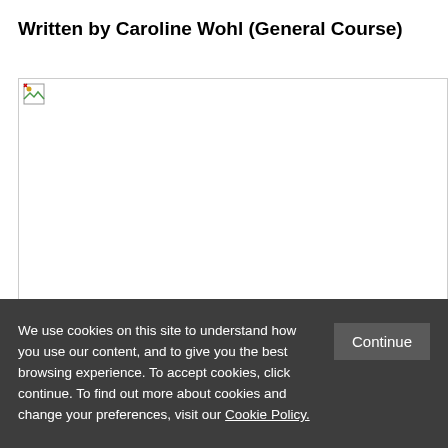Written by Caroline Wohl (General Course)
[Figure (photo): Broken/unloaded image placeholder with torn image icon]
We use cookies on this site to understand how you use our content, and to give you the best browsing experience. To accept cookies, click continue. To find out more about cookies and change your preferences, visit our Cookie Policy.